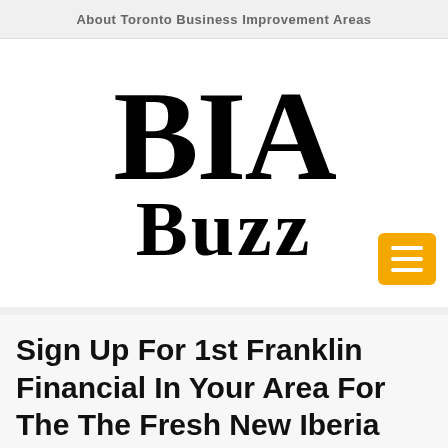About Toronto Business Improvement Areas
[Figure (logo): BIA Buzz logo — large bold serif letters 'BIA' above 'Buzz' in black on white background, with a yellow/orange hamburger menu button in the bottom right corner]
Sign Up For 1st Franklin Financial In Your Area For The The Fresh New Iberia (LA)